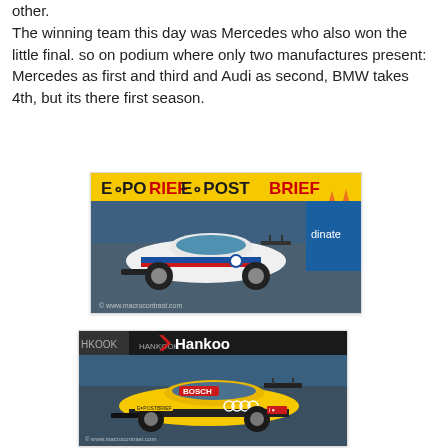other.
The winning team this day was Mercedes who also won the little final. so on podium where only two manufactures present: Mercedes as first and third and Audi as second, BMW takes 4th, but its there first season.
[Figure (photo): A white BMW DTM racing car on track with EoPostBrief sponsor banner in the background.]
[Figure (photo): A yellow Audi DTM racing car on track with Hankook sponsor banner in the background.]